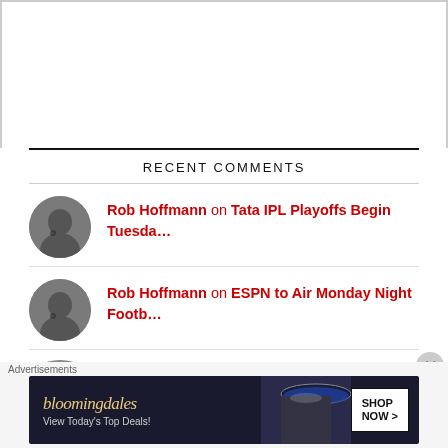[Figure (other): White empty content area at top of page]
RECENT COMMENTS
Rob Hoffmann on Tata IPL Playoffs Begin Tuesda…
Rob Hoffmann on ESPN to Air Monday Night Footb…
Partially visible comment item with NBC SPORTS link
[Figure (screenshot): Bloomingdales advertisement banner: View Today's Top Deals! SHOP NOW >]